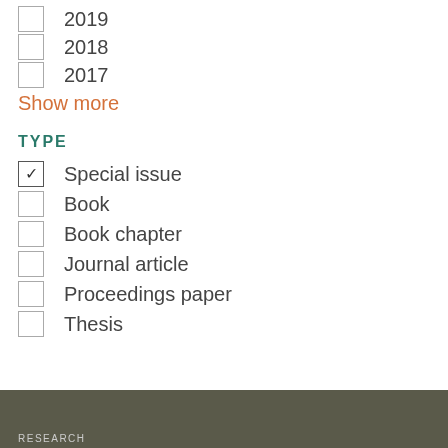2019
2018
2017
Show more
TYPE
Special issue (checked)
Book
Book chapter
Journal article
Proceedings paper
Thesis
RESEARCH